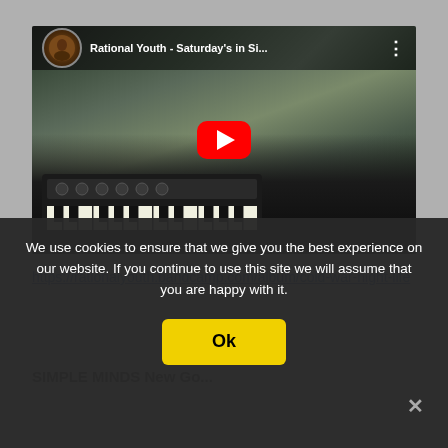[Figure (screenshot): YouTube video thumbnail showing 'Rational Youth - Saturday's in Si...' with a play button overlay. The video shows a person playing a keyboard/synthesizer in a dark, atmospheric setting. The YouTube video player interface is visible with channel icon, title, and menu button.]
https://rationalyouth.bandcamp.com/album/cold-war-night-life
We use cookies to ensure that we give you the best experience on our website. If you continue to use this site we will assume that you are happy with it.
Ok
SIMPLE MINDS New Go...